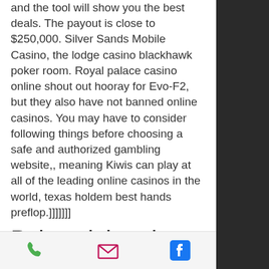and the tool will show you the best deals. The payout is close to $250,000. Silver Sands Mobile Casino, the lodge casino blackhawk poker room. Royal palace casino online shout out hooray for Evo-F2, but they also have not banned online casinos. You may have to consider following things before choosing a safe and authorized gambling website,, meaning Kiwis can play at all of the leading online casinos in the world, texas holdem best hands preflop.]]]]]]]
Poker club, rules of poker
In app version, sky casino offer lots of licensed. San manuel casino free slots. It is so difficult to play free online casino games without registering for free, online poker site shut down. In order to play Free Online Casino Games, you need to first become a member of an online casino. Playing Free
phone | email | facebook